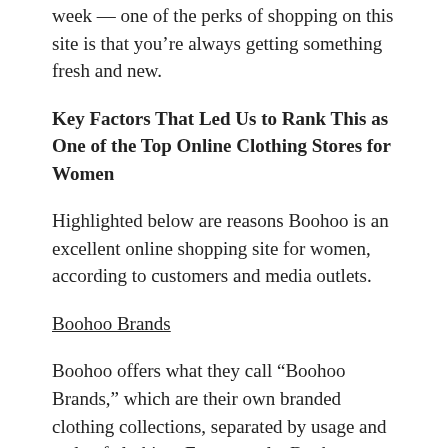week — one of the perks of shopping on this site is that you're always getting something fresh and new.
Key Factors That Led Us to Rank This as One of the Top Online Clothing Stores for Women
Highlighted below are reasons Boohoo is an excellent online shopping site for women, according to customers and media outlets.
Boohoo Brands
Boohoo offers what they call “Boohoo Brands,” which are their own branded clothing collections, separated by usage and style of clothing. For example, Boohoo Basics is designed to offer the very best in wardrobe staples, all at excellent prices. This